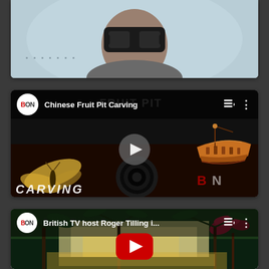[Figure (screenshot): Video thumbnail showing a person wearing a VR headset, partial view cropped at top]
[Figure (screenshot): YouTube-style video card with BON logo, title 'Chinese Fruit Pit Carving', showing carved fruit pit art with butterfly and boat motifs, grey play button in center]
[Figure (screenshot): YouTube-style video card with BON logo, title 'British TV host Roger Tilling i...', showing tropical garden/resort with palm trees, red YouTube play button in center]